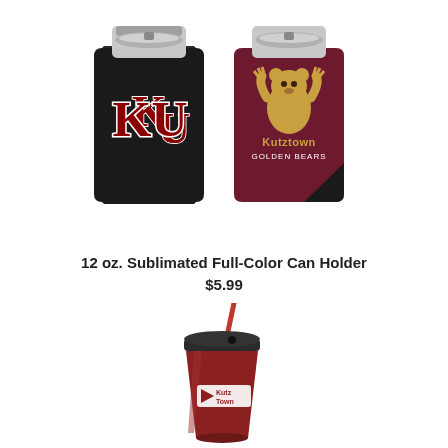[Figure (photo): Two can koozies: one black with 'KU' logo, one maroon with Kutztown Golden Bears mascot and text]
12 oz. Sublimated Full-Color Can Holder
$5.99
[Figure (photo): Maroon tumbler cup with straw and Kutztown Town logo on side]